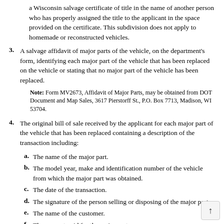a Wisconsin salvage certificate of title in the name of another person who has properly assigned the title to the applicant in the space provided on the certificate. This subdivision does not apply to homemade or reconstructed vehicles.
3. A salvage affidavit of major parts of the vehicle, on the department's form, identifying each major part of the vehicle that has been replaced on the vehicle or stating that no major part of the vehicle has been replaced.
Note: Form MV2673, Affidavit of Major Parts, may be obtained from DOT Document and Map Sales, 3617 Pierstorff St., P.O. Box 7713, Madison, WI 53704.
4. The original bill of sale received by the applicant for each major part of the vehicle that has been replaced containing a description of the transaction including:
a. The name of the major part.
b. The model year, make and identification number of the vehicle from which the major part was obtained.
c. The date of the transaction.
d. The signature of the person selling or disposing of the major part.
e. The name of the customer.
f. The amount paid for the major part.
g. If the vehicle from which a major part was obtained is